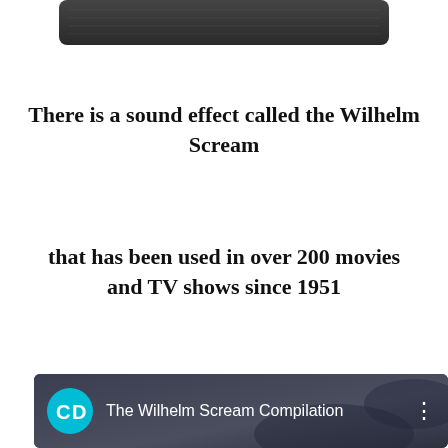[Figure (photo): Partial top view of what appears to be a dark microphone or audio recording device against a white background, cropped at the top of the page.]
There is a sound effect called the Wilhelm Scream
that has been used in over 200 movies and TV shows since 1951
[Figure (screenshot): YouTube video thumbnail showing 'The Wilhelm Scream Compilation' with a CD logo icon on the left and a three-dot menu icon on the right, dark blueish-grey background.]